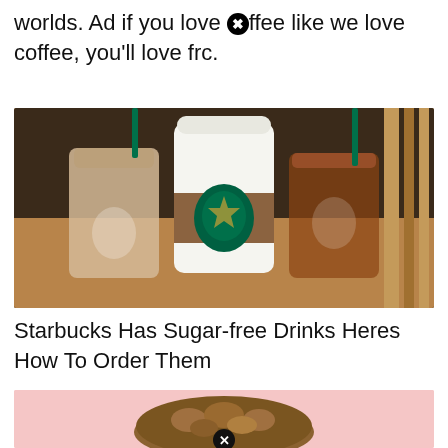worlds. Ad if you love ☒ffee like we love coffee, you'll love frc.
[Figure (photo): Three Starbucks drinks on a wooden surface: an iced latte, a hot white cup with Starbucks sleeve, and an iced tea, all with green straws or lids.]
Starbucks Has Sugar-free Drinks Heres How To Order Them
[Figure (photo): A baked pastry (appears to be a crumble donut or muffin) on a pink background with a close/X button overlay.]